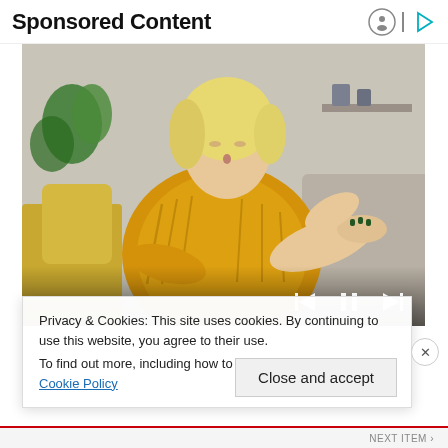Sponsored Content
[Figure (photo): A blonde woman in a yellow/mustard knit sweater sitting on a couch, looking down at her wrist/arm, appearing concerned. Media player controls visible at bottom right of image.]
Privacy & Cookies: This site uses cookies. By continuing to use this website, you agree to their use.
To find out more, including how to control cookies, see here: Cookie Policy
Close and accept